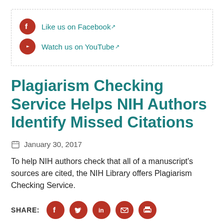Like us on Facebook
Watch us on YouTube
Plagiarism Checking Service Helps NIH Authors Identify Missed Citations
January 30, 2017
To help NIH authors check that all of a manuscript's sources are cited, the NIH Library offers Plagiarism Checking Service.
SHARE:
Last modified date: Wed, 01/10/2018 - 12:15